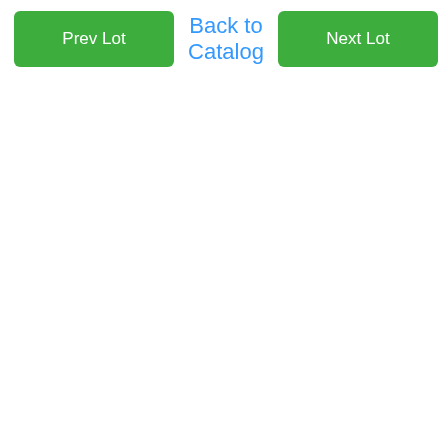Prev Lot | Back to Catalog | Next Lot